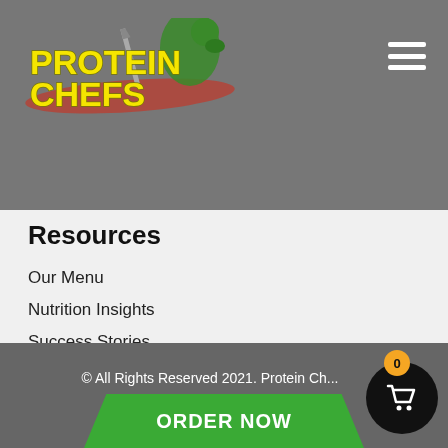Protein Chefs - navigation header with logo and hamburger menu
Resources
Our Menu
Nutrition Insights
Success Stories
Gift Cards
© All Rights Reserved 2021. Protein Ch... | ORDER NOW | Cart: 0